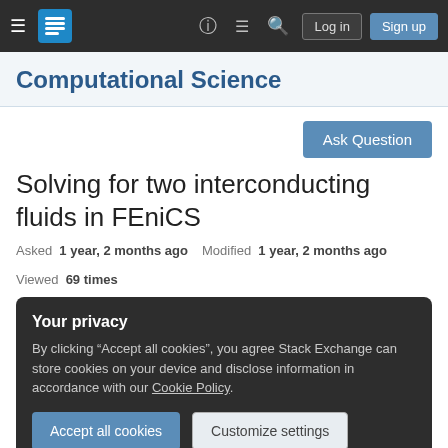≡  [Stack Exchange logo]  ?  ≡  🔍  Log in  Sign up
Computational Science
Ask Question
Solving for two interconducting fluids in FEniCS
Asked 1 year, 2 months ago  Modified 1 year, 2 months ago  Viewed 69 times
Your privacy
By clicking "Accept all cookies", you agree Stack Exchange can store cookies on your device and disclose information in accordance with our Cookie Policy.
Accept all cookies  Customize settings
fluid.